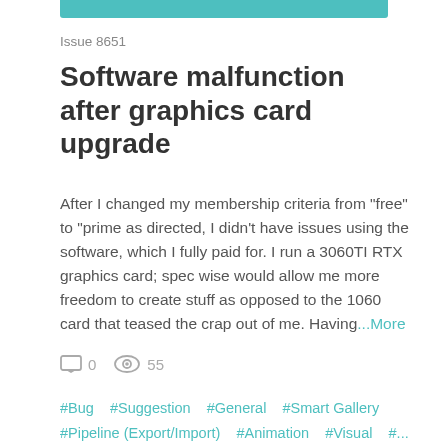Issue 8651
Software malfunction after graphics card upgrade
After I changed my membership criteria from "free" to "prime as directed, I didn't have issues using the software, which I fully paid for. I run a 3060TI RTX graphics card; spec wise would allow me more freedom to create stuff as opposed to the 1060 card that teased the crap out of me. Having...More
0  55
#Bug  #Suggestion  #General  #Smart Gallery  #Pipeline (Export/Import)  #Animation  #Visual  #...